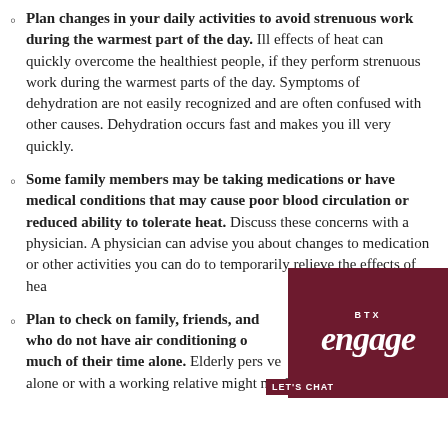Plan changes in your daily activities to avoid strenuous work during the warmest part of the day. Ill effects of heat can quickly overcome the healthiest people, if they perform strenuous work during the warmest parts of the day. Symptoms of dehydration are not easily recognized and are often confused with other causes. Dehydration occurs fast and makes you ill very quickly.
Some family members may be taking medications or have medical conditions that may cause poor blood circulation or reduced ability to tolerate heat. Discuss these concerns with a physician. A physician can advise you about changes to medication or other activities you can do to temporarily relieve the effects of heat.
Plan to check on family, friends, and neighbors who do not have air conditioning or who spend much of their time alone. Elderly persons who live alone or with a working relative might need
[Figure (logo): BTX Engage logo — dark red/maroon background with 'BTX' text at top and 'engage' in large italic script below]